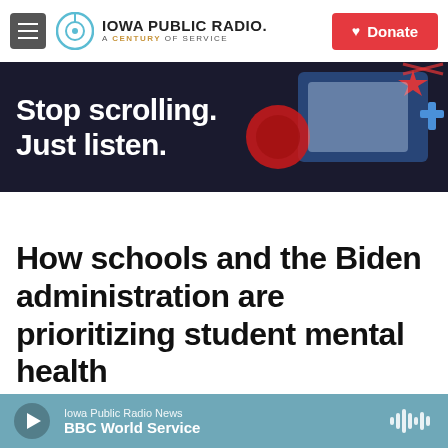Iowa Public Radio. A Century of Service — Donate
[Figure (screenshot): Iowa Public Radio website banner reading 'Stop scrolling. Just listen.' with dark background and colorful graphic elements on the right]
How schools and the Biden administration are prioritizing student mental health
By Cory Turner, Mi...
Iowa Public Radio News — BBC World Service (audio player bar)